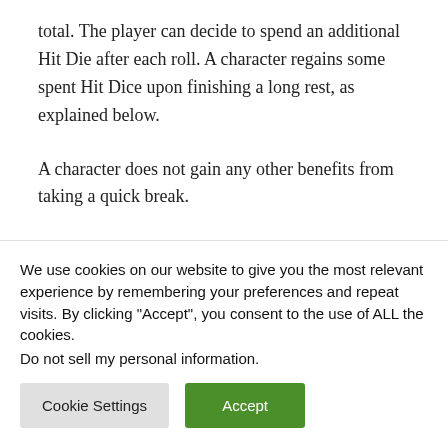total. The player can decide to spend an additional Hit Die after each roll. A character regains some spent Hit Dice upon finishing a long rest, as explained below.
A character does not gain any other benefits from taking a quick break.
Short Rest
We use cookies on our website to give you the most relevant experience by remembering your preferences and repeat visits. By clicking "Accept", you consent to the use of ALL the cookies.
Do not sell my personal information.